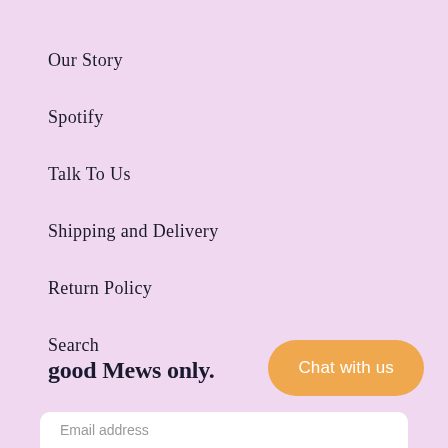Our Story
Spotify
Talk To Us
Shipping and Delivery
Return Policy
Search
good Mews only.
Chat with us
Email address